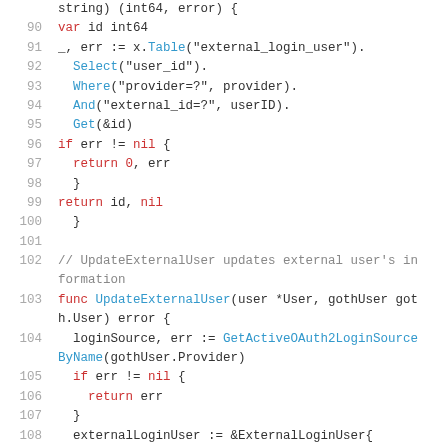[Figure (screenshot): Source code listing in Go language, lines 90-108, showing database query and UpdateExternalUser function implementation with syntax highlighting.]